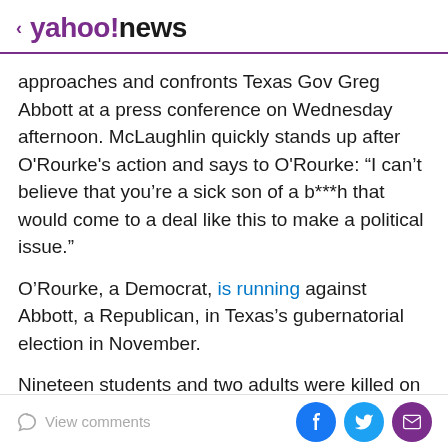< yahoo!news
approaches and confronts Texas Gov Greg Abbott at a press conference on Wednesday afternoon. McLaughlin quickly stands up after O'Rourke's action and says to O'Rourke: “I can’t believe that you’re a sick son of a b***h that would come to a deal like this to make a political issue.”
O’Rourke, a Democrat, is running against Abbott, a Republican, in Texas’s gubernatorial election in November.
Nineteen students and two adults were killed on May 24 after an 18-year-old local resident pushed past officers and barricaded himself inside a fourth grade classroom at
View comments